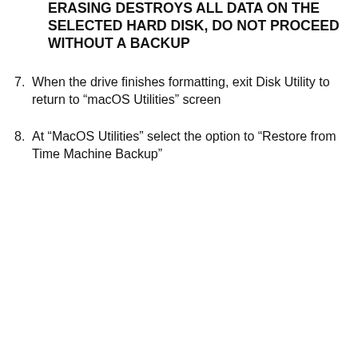ERASING DESTROYS ALL DATA ON THE SELECTED HARD DISK, DO NOT PROCEED WITHOUT A BACKUP
7. When the drive finishes formatting, exit Disk Utility to return to “macOS Utilities” screen
8. At “MacOS Utilities” select the option to “Restore from Time Machine Backup”
[Figure (screenshot): Screenshot of macOS Utilities window showing Restore From Time Machine Backup option highlighted with a red box and arrow. Menu items include: Restore From Time Machine Backup, Reinstall macOS, Get Help Online, Disk Utility. Watermark: osadaily.com]